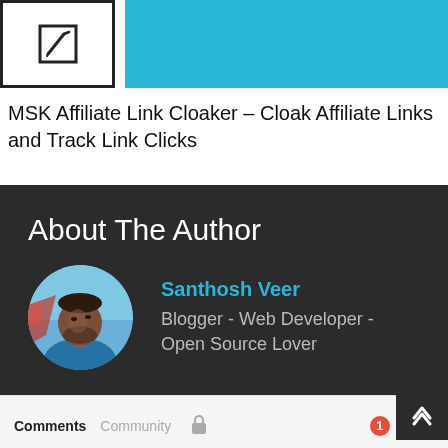[Figure (screenshot): Thumbnail images: a pencil/edit icon in a bordered box on the left, and a solid blue/cyan rectangle on the right]
MSK Affiliate Link Cloaker – Cloak Affiliate Links and Track Link Clicks
About The Author
[Figure (photo): Circular avatar photo of Santhosh Veer, a man looking upward against a sky background, wearing a blue shirt]
Santhosh Veer
Blogger - Web Developer - Open Source Lover
Comments  Community  [lock icon]  1  Login